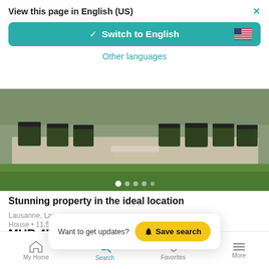View this page in English (US)
Switch to English
Other languages
[Figure (photo): Aerial view of a property garden with topiary boxwood hedges arranged symmetrically on a stone terrace with stairs and green lawn.]
Stunning property in the ideal location
Lausanne, Lausanne
House • 11.5
MUR 45
Want to get updates?  Save search
My Home  Search  Favorites  More